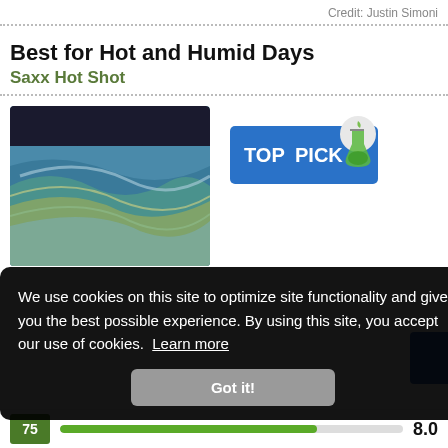Credit: Justin Simoni
Best for Hot and Humid Days
Saxx Hot Shot
[Figure (photo): Photo of Saxx Hot Shot underwear with colorful swirled pattern, navy waistband with SAXX branding, and a Top Pick badge on the right]
We use cookies on this site to optimize site functionality and give you the best possible experience. By using this site, you accept our use of cookies. Learn more
Got it!
8.0